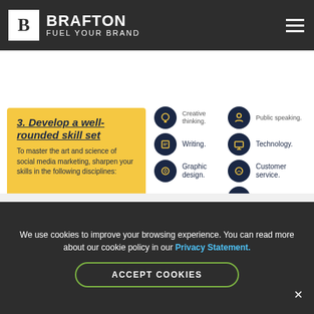BRAFTON FUEL YOUR BRAND
3. Develop a well-rounded skill set
To master the art and science of social media marketing, sharpen your skills in the following disciplines:
Creative thinking.
Public speaking.
Writing.
Technology.
Graphic design.
Customer service.
Data analysis.
Who do you want your messages to reach?
4. Define your target audience
Learn about your audience through customer data, buyer personas and feedback from existing followers. Use this knowledge to optimize and improve your content.
[Figure (illustration): Person with yellow parachute illustration]
We use cookies to improve your browsing experience. You can read more about our cookie policy in our Privacy Statement.
ACCEPT COOKIES